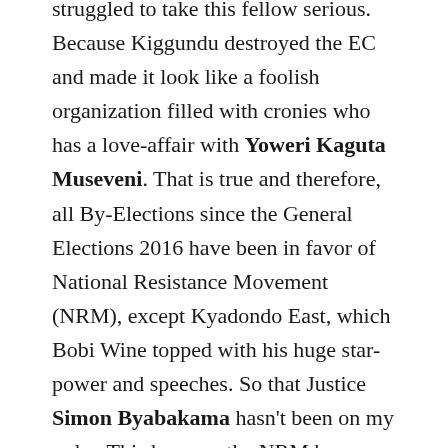struggled to take this fellow serious. Because Kiggundu destroyed the EC and made it look like a foolish organization filled with cronies who has a love-affair with Yoweri Kaguta Museveni. That is true and therefore, all By-Elections since the General Elections 2016 have been in favor of National Resistance Movement (NRM), except Kyadondo East, which Bobi Wine topped with his huge star-power and speeches. So that Justice Simon Byabakama hasn't been on my radar. This because the NRM has controlled and in-certain themselves in the by-election, where the opposition parties and independents has no control. Byabakama couldn't do anything wrong and the NRM can just do whatever. That is how it has been for various reasons, but the NRM are really not trying to have a multi-party state, that is just a piece of flesh on the